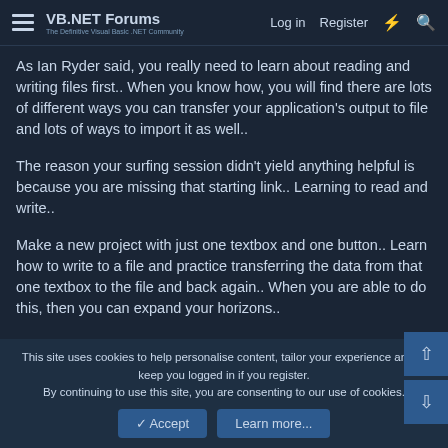VB.NET Forums — Log in | Register
As Ian Ryder said, you really need to learn about reading and writing files first.. When you know how, you will find there are lots of different ways you can transfer your application's output to file and lots of ways to import it as well..
The reason your surfing session didn't yield anything helpful is because you are missing that starting link.. Learning to read and write..
Make a new project with just one textbox and one button.. Learn how to write to a file and practice transferring the data from that one textbox to the file and back again.. When you are able to do this, then you can expand your horizons..
Good Luck
This site uses cookies to help personalise content, tailor your experience and to keep you logged in if you register.
By continuing to use this site, you are consenting to our use of cookies.